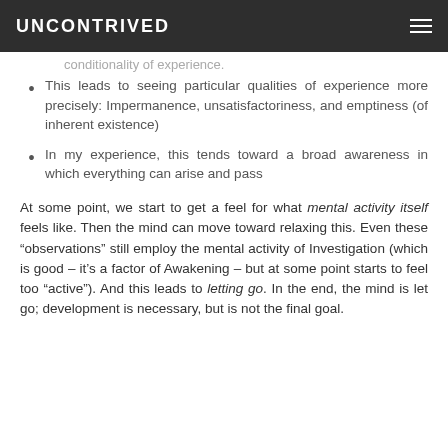UNCONTRIVED
conditionality of experience.
This leads to seeing particular qualities of experience more precisely: Impermanence, unsatisfactoriness, and emptiness (of inherent existence)
In my experience, this tends toward a broad awareness in which everything can arise and pass
At some point, we start to get a feel for what mental activity itself feels like. Then the mind can move toward relaxing this. Even these “observations” still employ the mental activity of Investigation (which is good – it’s a factor of Awakening – but at some point starts to feel too “active”). And this leads to letting go. In the end, the mind is let go; development is necessary, but is not the final goal.